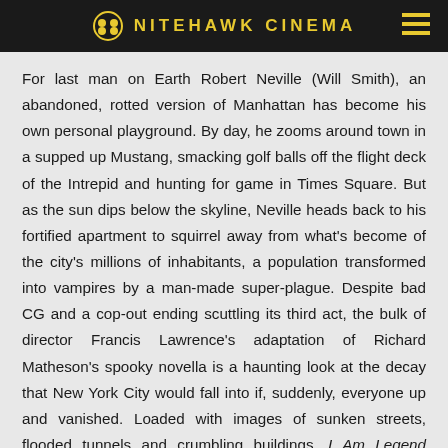NITEHAWK CINEMA
For last man on Earth Robert Neville (Will Smith), an abandoned, rotted version of Manhattan has become his own personal playground. By day, he zooms around town in a supped up Mustang, smacking golf balls off the flight deck of the Intrepid and hunting for game in Times Square. But as the sun dips below the skyline, Neville heads back to his fortified apartment to squirrel away from what's become of the city's millions of inhabitants, a population transformed into vampires by a man-made super-plague. Despite bad CG and a cop-out ending scuttling its third act, the bulk of director Francis Lawrence's adaptation of Richard Matheson's spooky novella is a haunting look at the decay that New York City would fall into if, suddenly, everyone up and vanished. Loaded with images of sunken streets, flooded tunnels and crumbling buildings, I Am Legend shows how quickly nature would beat down our infrastructure if we weren't there to constantly fight it back. Kris King